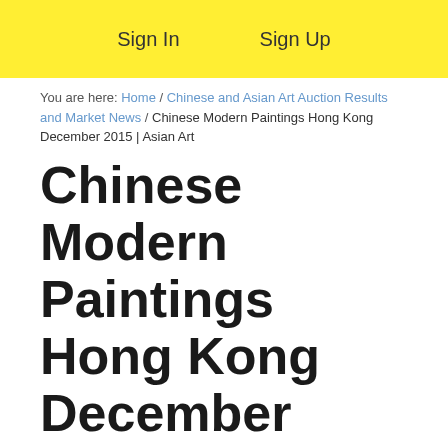Sign In   Sign Up
You are here: Home / Chinese and Asian Art Auction Results and Market News / Chinese Modern Paintings Hong Kong December 2015 | Asian Art
Chinese Modern Paintings Hong Kong December 2015 | Asian Art
November 16, 2015 By plcombs — Leave a Comment
A Site For Buyers & Sellers
Show More